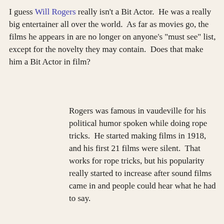I guess Will Rogers really isn't a Bit Actor.  He was a really big entertainer all over the world.  As far as movies go, the films he appears in are no longer on anyone's "must see" list, except for the novelty they may contain.  Does that make him a Bit Actor in film?
Rogers was famous in vaudeville for his political humor spoken while doing rope tricks.  He started making films in 1918, and his first 21 films were silent.  That works for rope tricks, but his popularity really started to increase after sound films came in and people could hear what he had to say.
In the late 1920s Rogers also made some short, and I am sure humorous, documentaries all across the globe. You won't find any big Hollywood names appearing with Rogers in most of his films. He was the star. He does show up in a cameo in Hollywood (1923) which also has cameos of every living star available. I have never seen such a cast!  Other than that, no Barrymores, Gishes, or